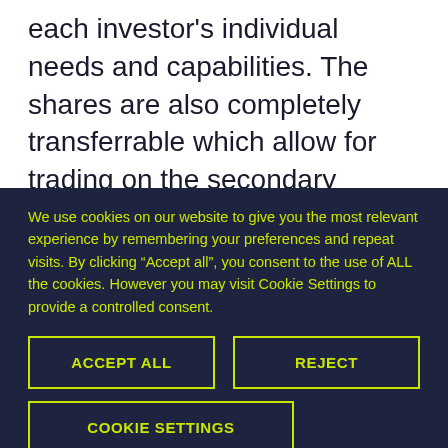each investor's individual needs and capabilities. The shares are also completely transferrable which allow for trading on the secondary market. As with any investment, investing in commercial properties naturally has its own risks which shall be familiar and known to the investor.
We use cookies on our website to give you the most relevant experience by remembering your preferences and repeat visits. By clicking “Accept all”, you consent to the use of ALL the cookies. However you may visit Cookie Settings to provide a controlled consent.
ACCEPT ALL
REJECT
COOKIE SETTINGS